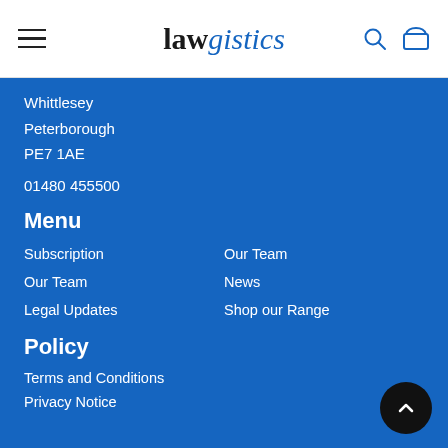lawgistics
Whittlesey
Peterborough
PE7 1AE
01480 455500
Menu
Subscription
Our Team
Legal Updates
Our Team
News
Shop our Range
Policy
Terms and Conditions
Privacy Notice